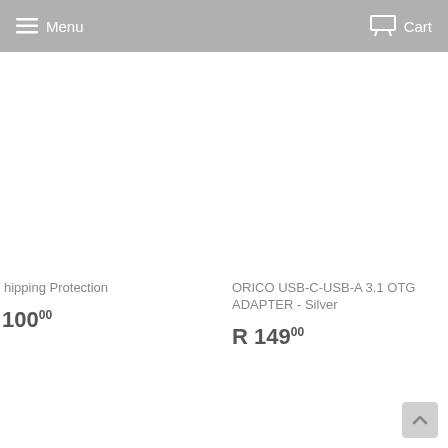Menu   Cart
hipping Protection
100.00
ORICO USB-C-USB-A 3.1 OTG ADAPTER - Silver
R 149.00